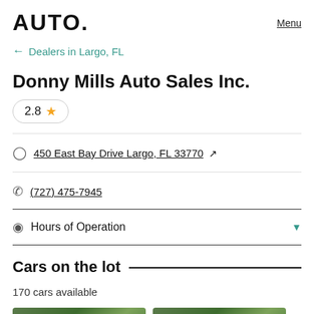AUTO.   Menu
← Dealers in Largo, FL
Donny Mills Auto Sales Inc.
2.8 ★
450 East Bay Drive Largo, FL 33770 ↗
(727) 475-7945
Hours of Operation
Cars on the lot
170 cars available
[Figure (photo): Two partial car thumbnail images at the bottom of the page]